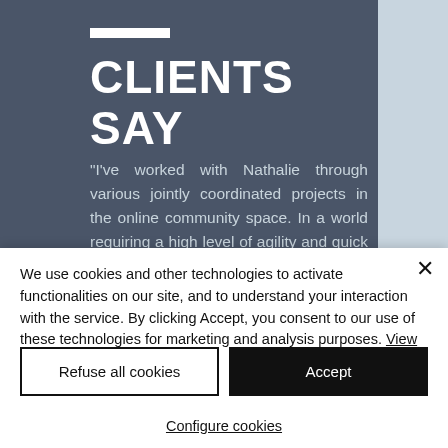CLIENTS SAY
"I've worked with Nathalie through various jointly coordinated projects in the online community space. In a world requiring a high level of agility and quick thinking they've been a great partner. There are never any preconceived
We use cookies and other technologies to activate functionalities on our site, and to understand your interaction with the service. By clicking Accept, you consent to our use of these technologies for marketing and analysis purposes. View privacy policy
Refuse all cookies
Accept
Configure cookies